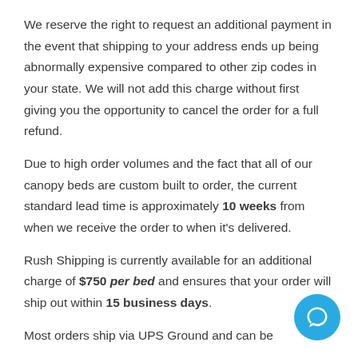We reserve the right to request an additional payment in the event that shipping to your address ends up being abnormally expensive compared to other zip codes in your state. We will not add this charge without first giving you the opportunity to cancel the order for a full refund.
Due to high order volumes and the fact that all of our canopy beds are custom built to order, the current standard lead time is approximately 10 weeks from when we receive the order to when it's delivered.
Rush Shipping is currently available for an additional charge of $750 per bed and ensures that your order will ship out within 15 business days.
Most orders ship via UPS Ground and can be